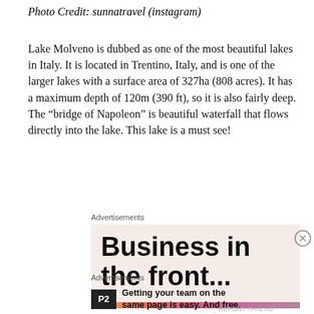Photo Credit: sunnatravel (instagram)
Lake Molveno is dubbed as one of the most beautiful lakes in Italy. It is located in Trentino, Italy, and is one of the larger lakes with a surface area of 327ha (808 acres). It has a maximum depth of 120m (390 ft), so it is also fairly deep. The “bridge of Napoleon” is beautiful waterfall that flows directly into the lake. This lake is a must see!
Advertisements
[Figure (infographic): Advertisement banner with large bold text reading 'Business in the front...' on a light peach/beige background with a colorful gradient bar at the bottom]
[Figure (infographic): Close button (X in circle) for dismissing the ad]
Advertisements
[Figure (logo): P2 logo — dark square with white 'P2' text]
Getting your team on the same page is easy. And free.
REPORT THIS AD